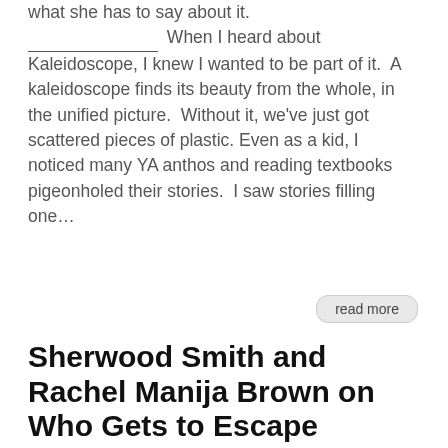what she has to say about it. _______________ When I heard about Kaleidoscope, I knew I wanted to be part of it.  A kaleidoscope finds its beauty from the whole, in the unified picture.  Without it, we've just got scattered pieces of plastic. Even as a kid, I noticed many YA anthos and reading textbooks pigeonholed their stories.  I saw stories filling one...
read more
Sherwood Smith and Rachel Manija Brown on Who Gets to Escape